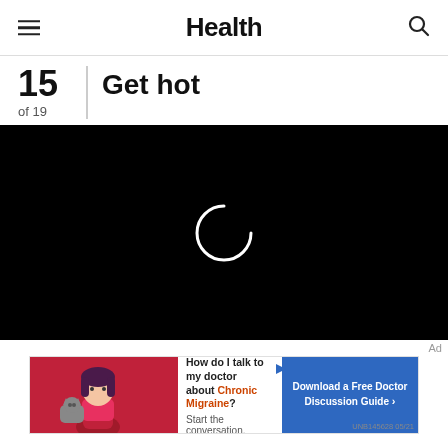Health
15 of 19 | Get hot
[Figure (screenshot): Black video player screen with a white loading spinner/circle arc in the center, indicating video is loading.]
Ad
[Figure (infographic): Advertisement banner: 'How do I talk to my doctor about Chronic Migraine? Start the conversation.' with a 'Download a Free Doctor Discussion Guide >' button. UNB145628 05/21]